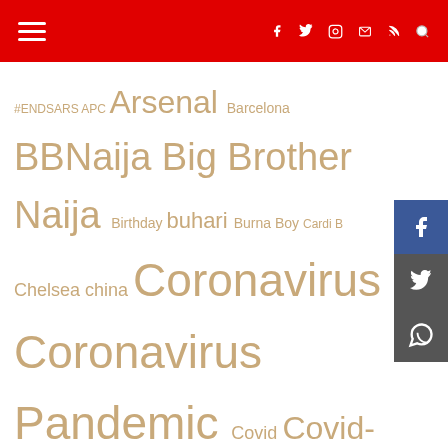Navigation header with hamburger menu and social icons (Facebook, Twitter, Instagram, Mail, RSS, Search)
[Figure (other): Tag cloud with Nigerian news topics in varying font sizes. Tags include: #ENDSARS, APC, Arsenal, Barcelona, BBNaija, Big Brother Naija, Birthday, buhari, Burna Boy, Cardi B, Chelsea, china, Coronavirus, Coronavirus Pandemic, Covid, Covid-19, daughter, Davido, Donald Trump, EFCC, Falz, FG, Kanye West, Kim kardashian, lagos, Liverpool, Manchester United, Man Utd, Nigeria, Nigerian Newspapers, Nigerians, Olamide, Phyno, Premier League, President Buhari]
[Figure (other): Social share sidebar with Facebook, Twitter, WhatsApp icons]